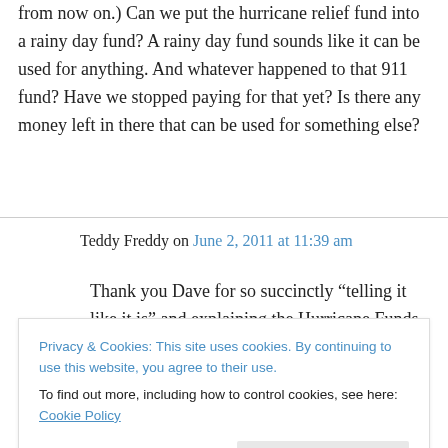from now on.) Can we put the hurricane relief fund into a rainy day fund? A rainy day fund sounds like it can be used for anything. And whatever happened to that 911 fund? Have we stopped paying for that yet? Is there any money left in there that can be used for something else?
Teddy Freddy on June 2, 2011 at 11:39 am
Thank you Dave for so succinctly “telling it like it is” and explaining the Hurricane Funds intent
Privacy & Cookies: This site uses cookies. By continuing to use this website, you agree to their use.
To find out more, including how to control cookies, see here: Cookie Policy
fund for other pressing needs? Or, have you